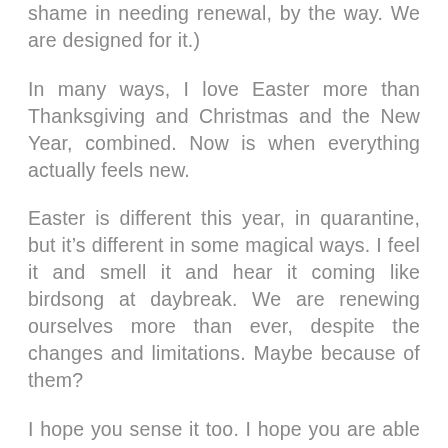shame in needing renewal, by the way. We are designed for it.)
In many ways, I love Easter more than Thanksgiving and Christmas and the New Year, combined. Now is when everything actually feels new.
Easter is different this year, in quarantine, but it’s different in some magical ways. I feel it and smell it and hear it coming like birdsong at daybreak. We are renewing ourselves more than ever, despite the changes and limitations. Maybe because of them?
I hope you sense it too. I hope you are able to rest and breathe deeply, still capturing the essence of this special season. I hope you take all the time you